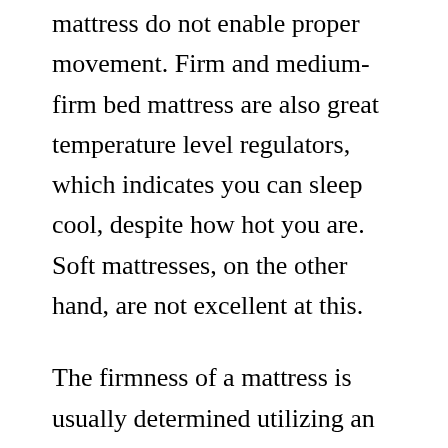mattress do not enable proper movement. Firm and medium-firm bed mattress are also great temperature level regulators, which indicates you can sleep cool, despite how hot you are. Soft mattresses, on the other hand, are not excellent at this.
The firmness of a mattress is usually determined utilizing an ILD test. This test measures the pressure needed to sink a large disk into a mattress. The higher the ILD, the firmer the mattress is. A soft latex mattress, for instance, might have an ILD between 19 and 21. Soft latex models,